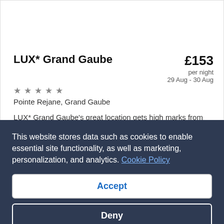LUX* Grand Gaube
★★★★★
Pointe Rejane, Grand Gaube
£153 per night
29 Aug - 30 Aug
LUX* Grand Gaube's great location gets high marks from our customers. During your stay, you'll be within walking distance of Grand Gaube Beach. You'll find features such as free WiFi in…
4.6/5 Exceptionally (431 reviews)
This website stores data such as cookies to enable essential site functionality, as well as marketing, personalization, and analytics. Cookie Policy
Accept
Deny